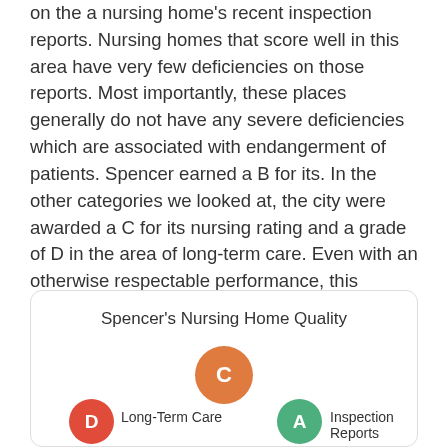on the a nursing home's recent inspection reports. Nursing homes that score well in this area have very few deficiencies on those reports. Most importantly, these places generally do not have any severe deficiencies which are associated with endangerment of patients. Spencer earned a B for its. In the other categories we looked at, the city were awarded a C for its nursing rating and a grade of D in the area of long-term care. Even with an otherwise respectable performance, this place's poor long-term care rating could be an issue for many people.
[Figure (infographic): Infographic card showing Spencer's overall nursing home quality grade C (orange circle), with sub-grades: D for Long-Term Care (red circle) and A for Inspection Reports (green circle).]